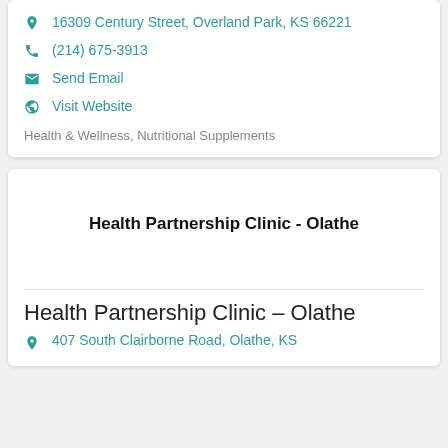16309 Century Street, Overland Park, KS 66221
(214) 675-3913
Send Email
Visit Website
Health & Wellness, Nutritional Supplements
Health Partnership Clinic - Olathe
Health Partnership Clinic – Olathe
407 South Clairborne Road, Olathe, KS